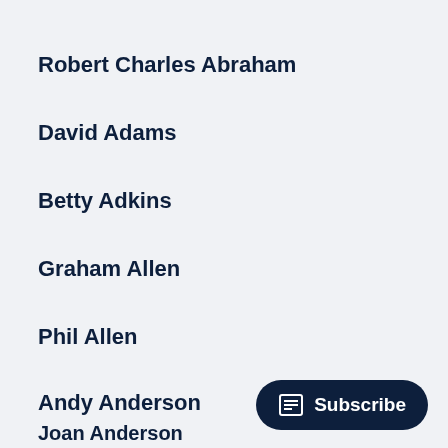Robert Charles Abraham
David Adams
Betty Adkins
Graham Allen
Phil Allen
Andy Anderson
Joan Anderson